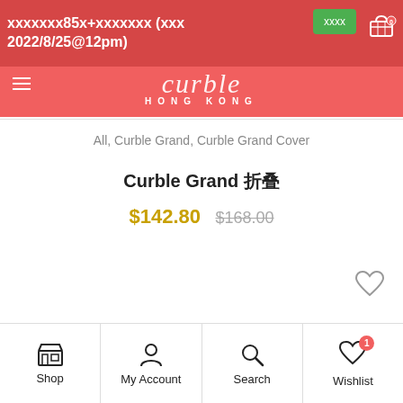xxxxxxx85x+xxxxxxx (xxx 2022/8/25@12pm) — Curble Hong Kong
All, Curble Grand, Curble Grand Cover
Curble Grand 折疊
$142.80  $168.00
Shop | My Account | Search | Wishlist